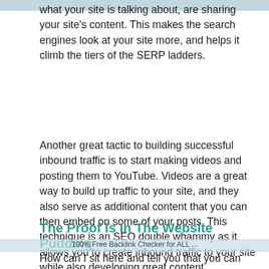what your site is talking about, are sharing your site's content. This makes the search engines look at your site more, and helps it climb the tiers of the SERP ladders.
Another great tactic to building successful inbound traffic is to start making videos and posting them to YouTube. Videos are a great way to build up traffic to your site, and they also serve as additional content that you can then embed on some of your posts. This technique is an SEO double whammy as it allows you to create inbound traffic to your site while also developing great content.
The Proof Is In The Website Pudding
100% Free Backlink Checker for ALL ...
How can I sit here and tell you that you can